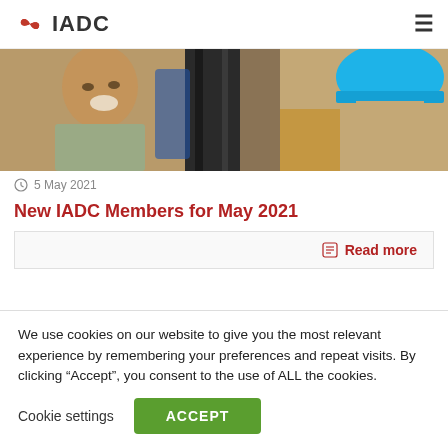IADC
[Figure (photo): Workers on a drilling rig, one smiling worker in foreground, another in blue hard hat on the right]
5 May 2021
New IADC Members for May 2021
Read more
We use cookies on our website to give you the most relevant experience by remembering your preferences and repeat visits. By clicking “Accept”, you consent to the use of ALL the cookies.
Cookie settings  ACCEPT